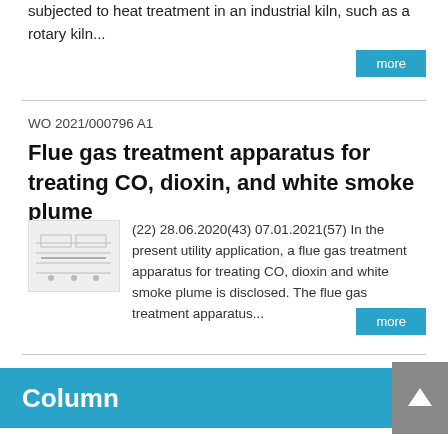subjected to heat treatment in an industrial kiln, such as a rotary kiln...
more
WO 2021/000796 A1
Flue gas treatment apparatus for treating CO, dioxin, and white smoke plume
[Figure (other): Thumbnail image of a patent diagram showing a flue gas treatment apparatus schematic]
(22) 28.06.2020(43) 07.01.2021(57) In the present utility application, a flue gas treatment apparatus for treating CO, dioxin and white smoke plume is disclosed. The flue gas treatment apparatus...
more
Column